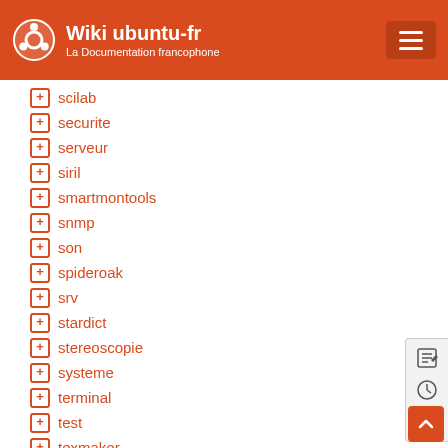Wiki ubuntu-fr — La Documentation francophone
+ scilab
+ securite
+ serveur
+ siril
+ smartmontools
+ snmp
+ son
+ spideroak
+ srv
+ stardict
+ stereoscopie
+ systeme
+ terminal
+ test
+ texmaker
+ themes
+ thunar
- thunderbird
+ timeshift
+ tmp